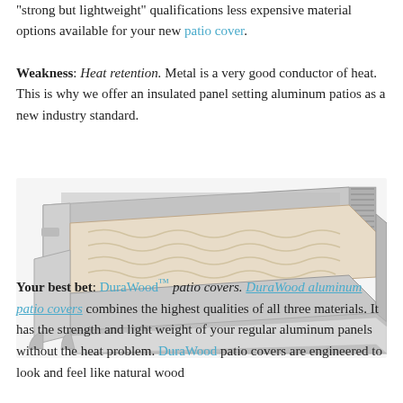"strong but lightweight" qualifications less expensive material options available for your new patio cover.
Weakness: Heat retention. Metal is a very good conductor of heat. This is why we offer an insulated panel setting aluminum patios as a new industry standard.
[Figure (photo): Cross-section photo of an insulated aluminum panel patio cover, showing the layered construction with metal outer shell and foam/insulation core.]
Your best bet: DuraWood™ patio covers. DuraWood aluminum patio covers combines the highest qualities of all three materials. It has the strength and light weight of your regular aluminum panels without the heat problem. DuraWood patio covers are engineered to look and feel like natural wood